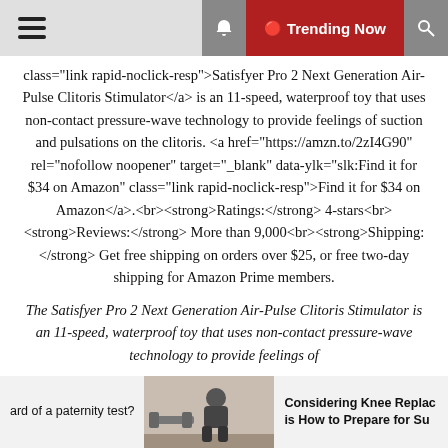Trending Now
class="link rapid-noclick-resp">Satisfyer Pro 2 Next Generation Air-Pulse Clitoris Stimulator</a> is an 11-speed, waterproof toy that uses non-contact pressure-wave technology to provide feelings of suction and pulsations on the clitoris. <a href="https://amzn.to/2zI4G9o" rel="nofollow noopener" target="_blank" data-ylk="slk:Find it for $34 on Amazon" class="link rapid-noclick-resp">Find it for $34 on Amazon</a>.<br><strong>Ratings:</strong> 4-stars<br><strong>Reviews:</strong> More than 9,000<br><strong>Shipping:</strong> Get free shipping on orders over $25, or free two-day shipping for Amazon Prime members.
The Satisfyer Pro 2 Next Generation Air-Pulse Clitoris Stimulator is an 11-speed, waterproof toy that uses non-contact pressure-wave technology to provide feelings of
ard of a paternity test? | Considering Knee Replac is How to Prepare for Su